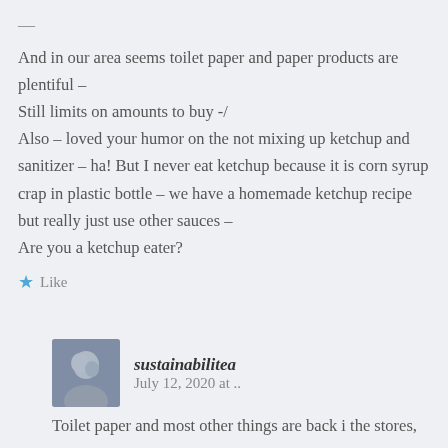—
And in our area seems toilet paper and paper products are plentiful –
Still limits on amounts to buy -/
Also – loved your humor on the not mixing up ketchup and sanitizer – ha! But I never eat ketchup because it is corn syrup crap in plastic bottle – we have a homemade ketchup recipe but really just use other sauces –
Are you a ketchup eater?
Like
sustainabilitea   July 12, 2020 at ..
Toilet paper and most other things are back i the stores,